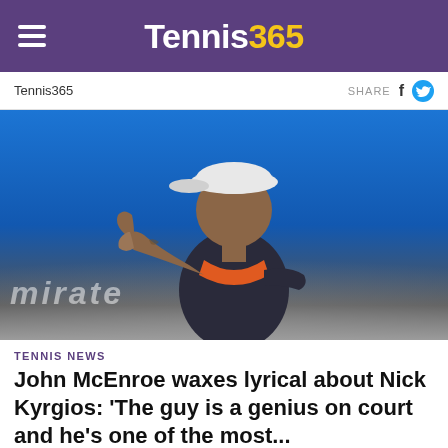Tennis365
Tennis365  SHARE
[Figure (photo): Tennis player Nick Kyrgios wearing a backwards white cap and dark shirt with orange trim, giving a thumbs up gesture on court, with Emirates Airlines signage visible in the blurred background]
TENNIS NEWS
John McEnroe waxes lyrical about Nick Kyrgios: 'The guy is a genius on court and he's one of the most...